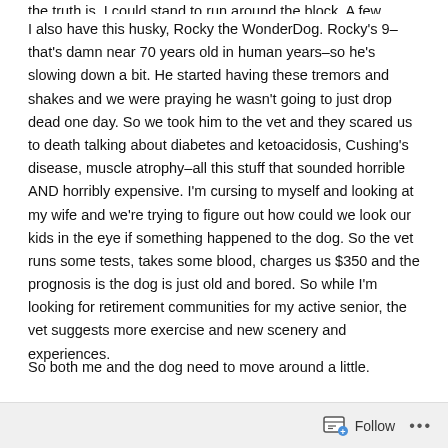the truth is, I could stand to run around the block. A few times.
I also have this husky, Rocky the WonderDog. Rocky's 9–that's damn near 70 years old in human years–so he's slowing down a bit. He started having these tremors and shakes and we were praying he wasn't going to just drop dead one day. So we took him to the vet and they scared us to death talking about diabetes and ketoacidosis, Cushing's disease, muscle atrophy–all this stuff that sounded horrible AND horribly expensive. I'm cursing to myself and looking at my wife and we're trying to figure out how could we look our kids in the eye if something happened to the dog. So the vet runs some tests, takes some blood, charges us $350 and the prognosis is the dog is just old and bored. So while I'm looking for retirement communities for my active senior, the vet suggests more exercise and new scenery and experiences.
So both me and the dog need to move around a little.
[partial line cut off at bottom]
Follow ...